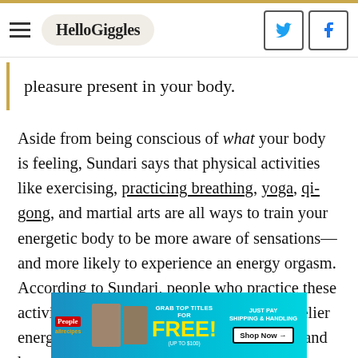HelloGiggles
pleasure present in your body.
Aside from being conscious of what your body is feeling, Sundari says that physical activities like exercising, practicing breathing, yoga, qi-gong, and martial arts are all ways to train your energetic body to be more aware of sensations—and more likely to experience an energy orgasm. According to Sundari, people who practice these activities "tend to be more vibrant, have livelier energy (as opposed to heavy and stagnant), and have a stronger
[Figure (screenshot): Advertisement banner: People and allrecipes magazine logos on left with magazine cover images; center text 'GRAB TOP TITLES FOR FREE! (UP TO $100)'; right side 'JUST PAY SHIPPING & HANDLING' with 'Shop Now →' button. Cyan/blue gradient background.]